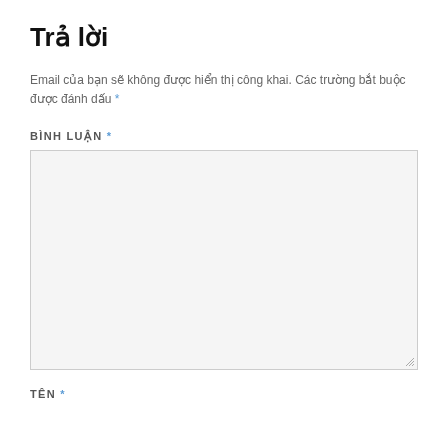Trả lời
Email của bạn sẽ không được hiển thị công khai. Các trường bắt buộc được đánh dấu *
BÌNH LUẬN *
[Figure (other): Empty comment textarea input box with light gray background and resize handle in bottom right corner]
TÊN *